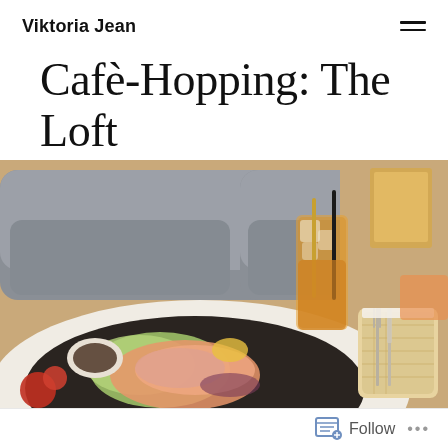Viktoria Jean
Cafè-Hopping: The Loft
[Figure (photo): Close-up photo of a cafe meal: a dark plate with salmon salad and a small dipping sauce bowl, alongside a tall iced amber drink with a black straw and a wicker cutlery holder with fork and knife, set on a low table in front of a grey sofa.]
Follow ...